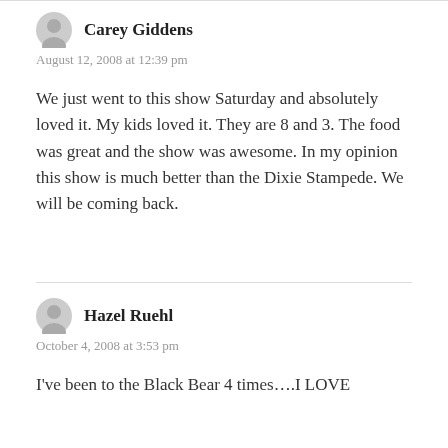Carey Giddens
August 12, 2008 at 12:39 pm
We just went to this show Saturday and absolutely loved it. My kids loved it. They are 8 and 3. The food was great and the show was awesome. In my opinion this show is much better than the Dixie Stampede. We will be coming back.
Hazel Ruehl
October 4, 2008 at 3:53 pm
I've been to the Black Bear 4 times….I LOVE